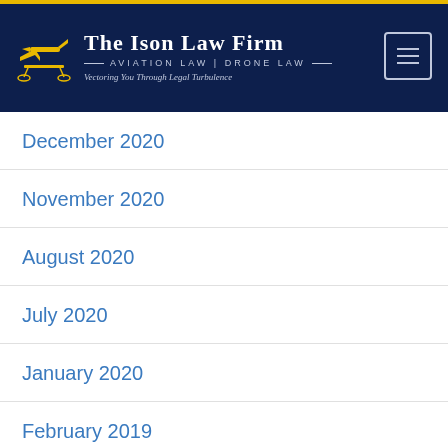[Figure (logo): The Ison Law Firm logo with yellow airplane/scales icon, firm name 'The Ison Law Firm', subtitle 'Aviation Law | Drone Law', tagline 'Vectoring You Through Legal Turbulence' on dark navy background with hamburger menu button]
December 2020
November 2020
August 2020
July 2020
January 2020
February 2019
January 2019
December 2018